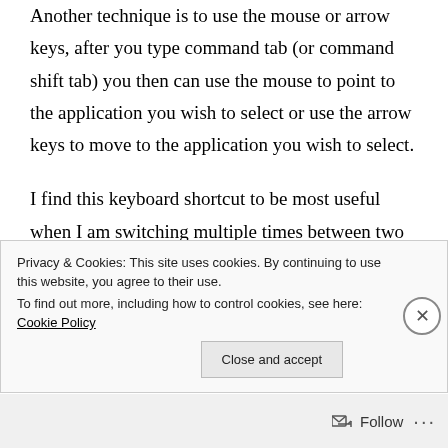Another technique is to use the mouse or arrow keys, after you type command tab (or command shift tab) you then can use the mouse to point to the application you wish to select or use the arrow keys to move to the application you wish to select.
I find this keyboard shortcut to be most useful when I am switching multiple times between two applications. For example I copy from a spreadsheet copy of my accounts the date that a invoice was paid and paste it into a database of my invoices, switching back and forth between the two for a long time.
Privacy & Cookies: This site uses cookies. By continuing to use this website, you agree to their use.
To find out more, including how to control cookies, see here: Cookie Policy
Close and accept
Follow